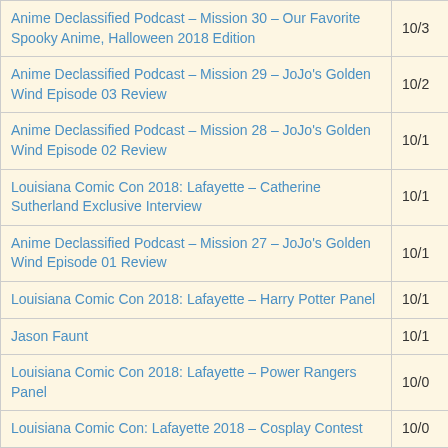| Title | Date |
| --- | --- |
| Anime Declassified Podcast – Mission 30 – Our Favorite Spooky Anime, Halloween 2018 Edition | 10/3 |
| Anime Declassified Podcast – Mission 29 – JoJo's Golden Wind Episode 03 Review | 10/2 |
| Anime Declassified Podcast – Mission 28 – JoJo's Golden Wind Episode 02 Review | 10/1 |
| Louisiana Comic Con 2018: Lafayette – Catherine Sutherland Exclusive Interview | 10/1 |
| Anime Declassified Podcast – Mission 27 – JoJo's Golden Wind Episode 01 Review | 10/1 |
| Louisiana Comic Con 2018: Lafayette – Harry Potter Panel | 10/1 |
| Jason Faunt | 10/1 |
| Louisiana Comic Con 2018: Lafayette – Power Rangers Panel | 10/0 |
| Louisiana Comic Con: Lafayette 2018 – Cosplay Contest | 10/0 |
| Louisiana Comic Con 2018: Lafayette – Boba Fett and Greedo Q&A Panel | 10/0 |